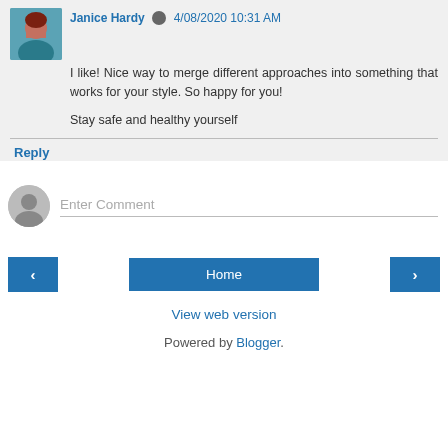Janice Hardy  4/08/2020 10:31 AM
I like! Nice way to merge different approaches into something that works for your style. So happy for you!

Stay safe and healthy yourself
Reply
Enter Comment
< Home >
View web version
Powered by Blogger.